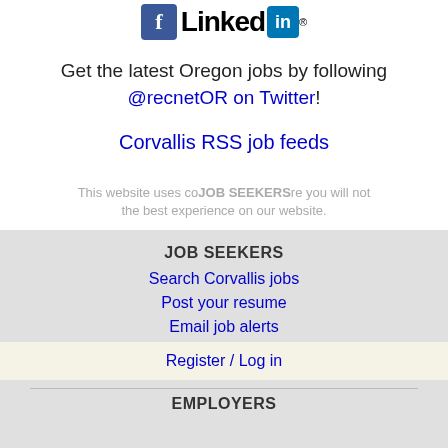[Figure (logo): Facebook and LinkedIn logos side by side at top of page]
Get the latest Oregon jobs by following @recnetOR on Twitter!
Corvallis RSS job feeds
This website uses cookies to ensure you will not get the best experience on our website. Learn more
JOB SEEKERS
Search Corvallis jobs
Post your resume
Email job alerts
Register / Log in
EMPLOYERS